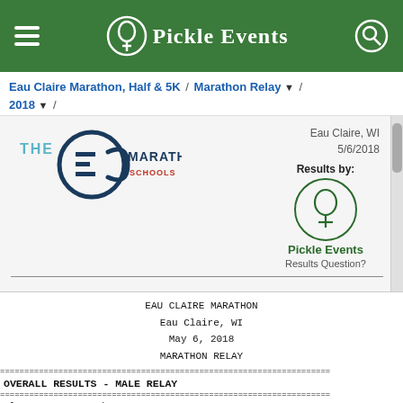Pickle Events
Eau Claire Marathon, Half & 5K / Marathon Relay ▼ / 2018 ▼ /
[Figure (logo): EC Marathon Schools logo and Pickle Events branding with event details: Eau Claire, WI, 5/6/2018, Results by Pickle Events, Results Question?]
EAU CLAIRE MARATHON
Eau Claire, WI
May 6, 2018
MARATHON RELAY
OVERALL RESULTS - MALE RELAY
Place No.  Team / Members                                            4M S